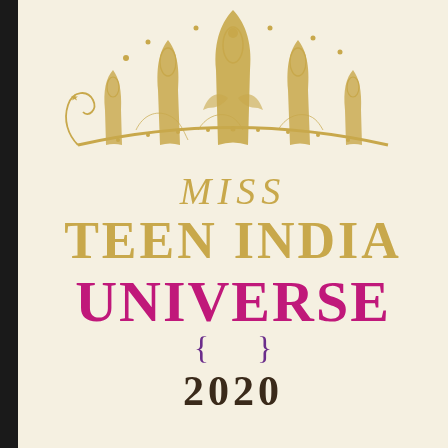[Figure (logo): Miss Teen India Universe 2020 logo featuring an ornate golden crown at the top, text 'MISS' in gold italic, 'TEEN INDIA' in large gold bold serif, 'UNIVERSE' in large magenta/pink bold serif, a decorative curly brace ornament in purple, and '2020' in dark bold serif. Background is cream/ivory. Left edge has a dark vertical bar.]